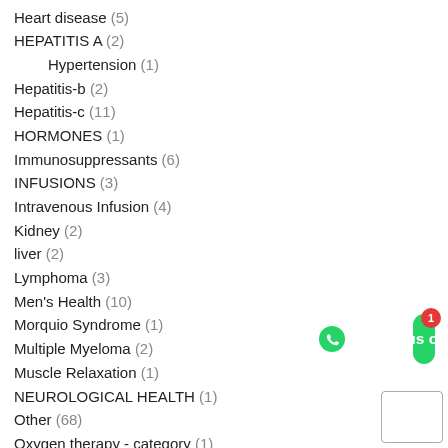Heart disease (5)
HEPATITIS A (2)
Hypertension (1)
Hepatitis-b (2)
Hepatitis-c (11)
HORMONES (1)
Immunosuppressants (6)
INFUSIONS (3)
Intravenous Infusion (4)
Kidney (2)
liver (2)
Lymphoma (3)
Men's Health (10)
Morquio Syndrome (1)
Multiple Myeloma (2)
Muscle Relaxation (1)
NEUROLOGICAL HEALTH (1)
Other (68)
Oxygen therapy - category (1)